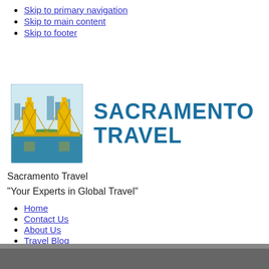Skip to primary navigation
Skip to main content
Skip to footer
[Figure (logo): Sacramento Travel logo: illustration of the Tower Bridge in Sacramento with city skyline, in yellow, blue and green colors]
Sacramento Travel
"Your Experts in Global Travel"
Home
Contact Us
About Us
Travel Blog
Terms & Conditions
Resources
[Figure (photo): Partial bottom image, appears to be a dark outdoor/travel photo]